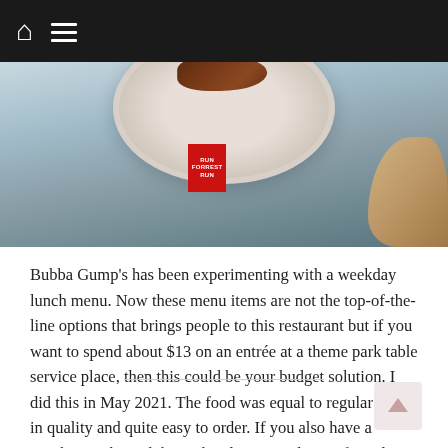Navigation bar with home and menu icons
[Figure (photo): Close-up photo of a plate with food (dark-colored entrée) on a table with a red branded tag/card visible and a hand in the background, blue-toned setting with tropical elements]
Bubba Gump's has been experimenting with a weekday lunch menu. Now these menu items are not the top-of-the-line options that brings people to this restaurant but if you want to spend about $13 on an entrée at a theme park table service place, then this could be your budget solution. I did this in May 2021. The food was equal to regular menu in quality and quite easy to order. If you also have a Landry's Select Club Card and/or a Landry's gift card, then this place can be your budget solution at least for one day. Bubba Gump's also offers 10% to AAA members.